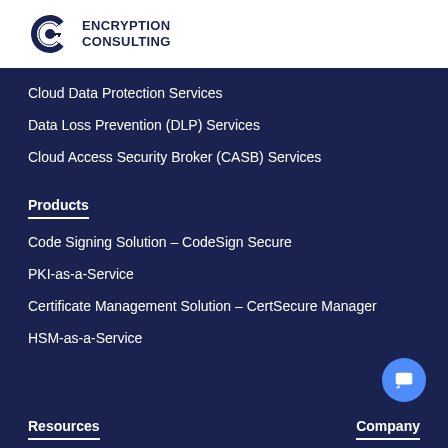[Figure (logo): Encryption Consulting logo with interlocked C and key icon in dark navy, with bold uppercase text ENCRYPTION CONSULTING]
Cloud Data Protection Services
Data Loss Prevention (DLP) Services
Cloud Access Security Broker (CASB) Services
Products
Code Signing Solution – CodeSign Secure
PKI-as-a-Service
Certificate Management Solution – CertSecure Manager
HSM-as-a-Service
Resources
Company